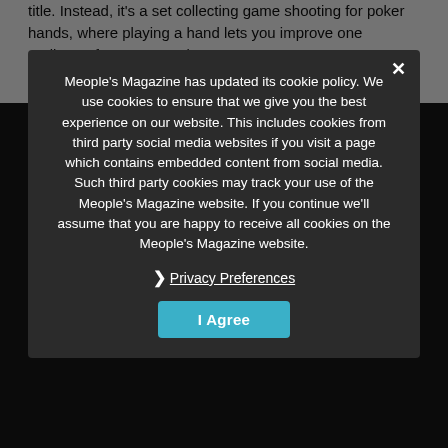title. Instead, it's a set collecting game shooting for poker hands, where playing a hand lets you improve one attribute of your game play.
○
Illegal
Games let you play different roles: the ones that you will encounter, the people who talk to people, instances that could cost everyone their life. I'll also mention the ability to trade: Charlene Boelinger, a dealer for the children's third or of weapons. That's the role you take in this adults only party game: that of a distasteful criminal trading his illegal goods for other goods.
○
Meople's Magazine has updated its cookie policy. We use cookies to ensure that we give you the best experience on our website. This includes cookies from third party social media websites if you visit a page which contains embedded content from social media. Such third party cookies may track your use of the Meople's Magazine website. If you continue we'll assume that you are happy to receive all cookies on the Meople's Magazine website.
Privacy Preferences
I Agree